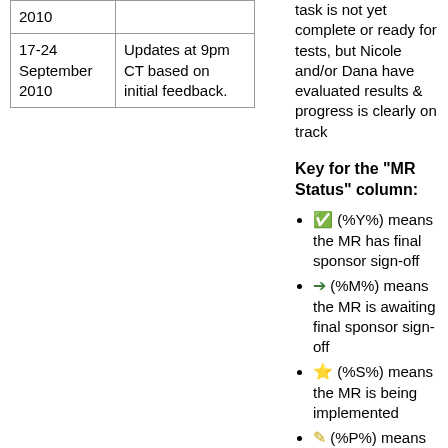| Date | Action |
| --- | --- |
| 2010 |  |
| 17-24 September 2010 | Updates at 9pm CT based on initial feedback. |
task is not yet complete or ready for tests, but Nicole and/or Dana have evaluated results & progress is clearly on track
Key for the "MR Status" column:
(%Y%) means the MR has final sponsor sign-off
(%M%) means the MR is awaiting final sponsor sign-off
(%S%) means the MR is being implemented
(%P%) means the MR is either